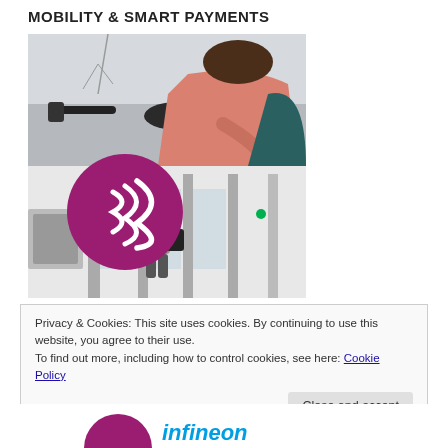MOBILITY & SMART PAYMENTS
[Figure (photo): Composite photo: top half shows a woman in a pink jacket leaning over a bicycle; bottom half shows a person walking through transit gates. A purple circular contactless payment icon overlaid on the image.]
Privacy & Cookies: This site uses cookies. By continuing to use this website, you agree to their use.
To find out more, including how to control cookies, see here: Cookie Policy
[Figure (logo): Infineon Technologies logo with teal 'infineon' wordmark and partial purple circular icon on the left]